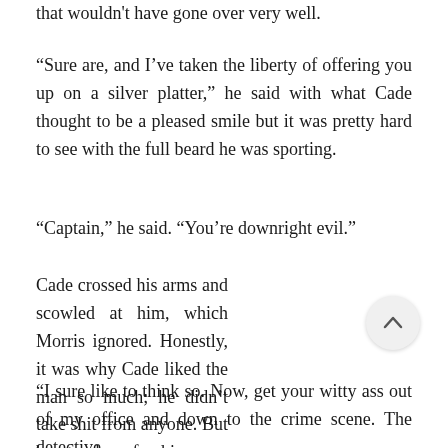that wouldn't have gone over very well.
“Sure are, and I’ve taken the liberty of offering you up on a silver platter,” he said with what Cade thought to be a pleased smile but it was pretty hard to see with the full beard he was sporting.
“Captain,” he said. “You’re downright evil.”
Cade crossed his arms and scowled at him, which Morris ignored. Honestly, it was why Cade liked the man so much; he didn’t take shit from anyone. But he stood up for his guys, always. Cade knew he could count on him no matter what, not that it stopped either of them from busting each other’s balls.
“I sure like to think so. Now, get your witty ass out of my office and down to the crime scene. The detective